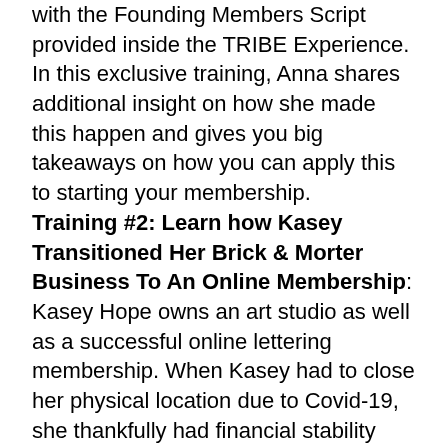with the Founding Members Script provided inside the TRIBE Experience. In this exclusive training, Anna shares additional insight on how she made this happen and gives you big takeaways on how you can apply this to starting your membership.
Training #2: Learn how Kasey Transitioned Her Brick & Morter Business To An Online Membership:
Kasey Hope owns an art studio as well as a successful online lettering membership. When Kasey had to close her physical location due to Covid-19, she thankfully had financial stability due to her online membership. Kasey shares her experiences on how she transitioned from a brick and mortar business to an online membership, and she also shares how she